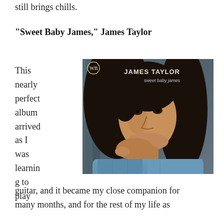still brings chills.
“Sweet Baby James,” James Taylor
This nearly perfect album arrived as I was learning to play guitar, and it became my close companion for many months, and for the rest of my life as
[Figure (photo): Album cover for James Taylor's 'Sweet Baby James' showing a young James Taylor with long dark hair, wearing a blue denim shirt, resting his chin on his hand. The Warner Bros. logo and text 'JAMES TAYLOR sweet baby james' appear in the upper right of the cover.]